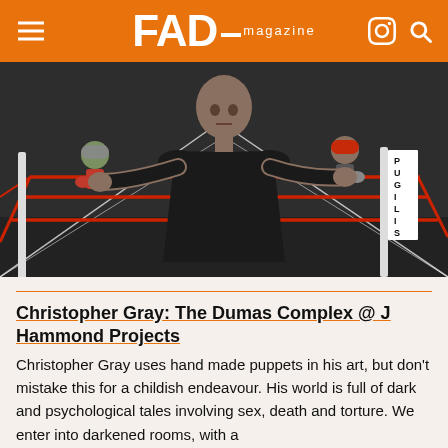FAD magazine
[Figure (photo): A man in a black shirt stands at a boxing ring holding two small boxing puppets wearing helmets, framed by red ropes of the ring. Sign reads PUGLIST in background.]
Christopher Gray: The Dumas Complex @ J Hammond Projects
Christopher Gray uses hand made puppets in his art, but don't mistake this for a childish endeavour. His world is full of dark and psychological tales involving sex, death and torture. We enter into darkened rooms, with a